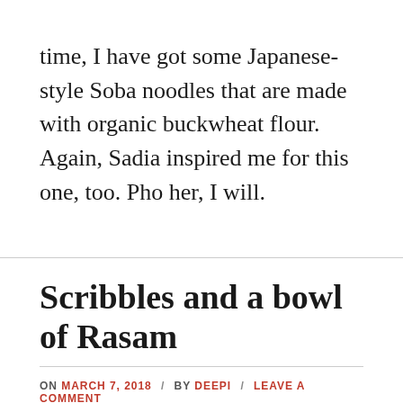time, I have got some Japanese-style Soba noodles that are made with organic buckwheat flour. Again, Sadia inspired me for this one, too. Pho her, I will.
Scribbles and a bowl of Rasam
ON MARCH 7, 2018 / BY DEEPI / LEAVE A COMMENT
[Figure (photo): A photograph showing a dark bowl with rasam and scattered seeds/spices on a burlap background. Watermark reads tastememory.blog]